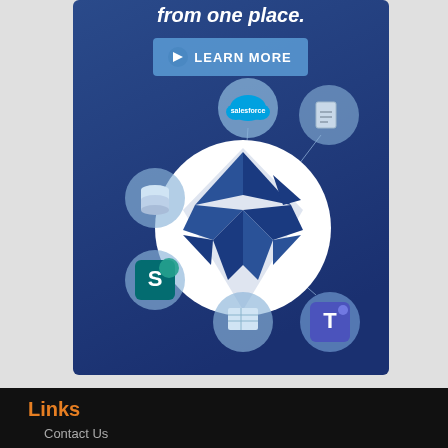[Figure (infographic): A dark blue banner image showing a hub-and-spoke integration diagram. Central white circle contains a geometric diamond/crystal logo with dark blue triangular facets. Connected satellite circles show integration icons: Salesforce (blue cloud logo), a document/file icon, a database stack icon, SharePoint (green S logo), another database/table icon, and Microsoft Teams (purple T logo). At the top, white text reads 'from one place.' with a 'LEARN MORE' button in light blue.]
Links
Contact Us